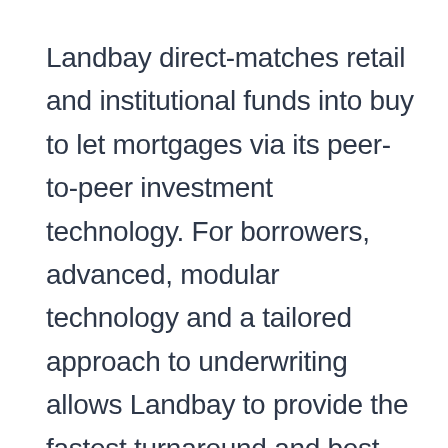Landbay direct-matches retail and institutional funds into buy to let mortgages via its peer-to-peer investment technology. For borrowers, advanced, modular technology and a tailored approach to underwriting allows Landbay to provide the fastest turnaround and best service of any specialist buy to let lender, whilst its platform gives retail and institutional investors access to the burgeoning buy to let mortgage market. Retail investors are offered the chance to lend via an Innovative Finance ISA or classic peer-to-peer